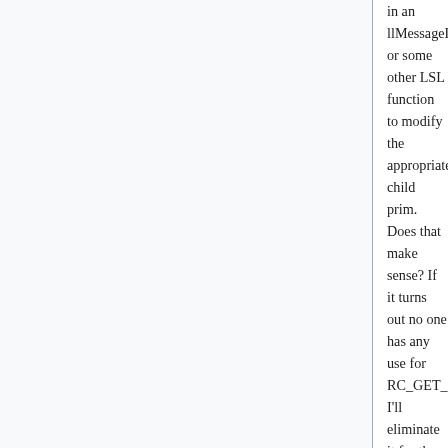in an llMessageLinked or some other LSL function to modify the appropriate child prim. Does that make sense? If it turns out no one has any use for RC_GET_LINK_NUM, I'll eliminate it for the sake of simplicity. But the behavior you're looking for is already there by default! Yay.
Cheers, Falcon Linden
Makes perfect sense; I need to read better. Thanks. Jack Abraham 05:44, 3 July 2010 (UTC)
Memory concerns
Dumping all possible avaible information into a list regardless of whether any of them will be used seems severely wasteful. If you really need to dump all the info as soon as the command is